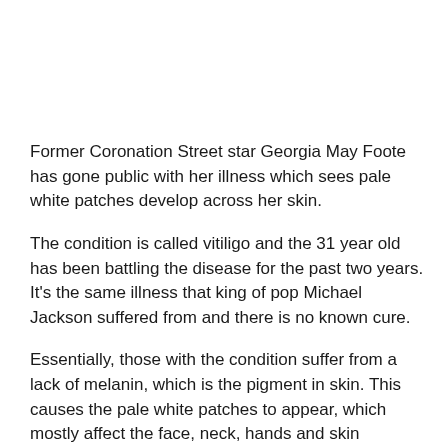Former Coronation Street star Georgia May Foote has gone public with her illness which sees pale white patches develop across her skin.
The condition is called vitiligo and the 31 year old has been battling the disease for the past two years. It's the same illness that king of pop Michael Jackson suffered from and there is no known cure.
Essentially, those with the condition suffer from a lack of melanin, which is the pigment in skin. This causes the pale white patches to appear, which mostly affect the face, neck, hands and skin creases.